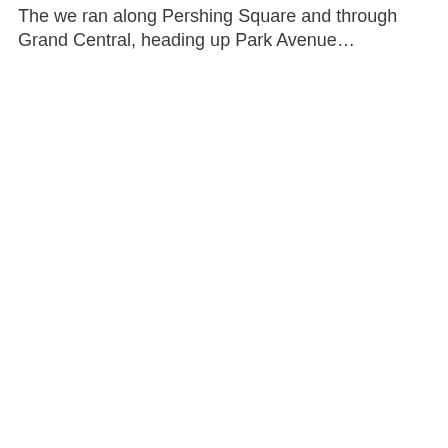The we ran along Pershing Square and through Grand Central, heading up Park Avenue…